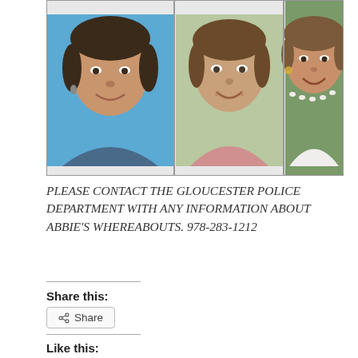[Figure (photo): Photo collage of three images of a woman named Abbie — a blue-background ID photo on the left, a candid outdoor photo in the center, and a smiling portrait with pearl necklace on the right.]
PLEASE CONTACT THE GLOUCESTER POLICE DEPARTMENT WITH ANY INFORMATION ABOUT ABBIE'S WHEREABOUTS. 978-283-1212
Share this:
Share
Like this:
Like
Be the first to like this.
This entry was posted in Eastern Point, Gloucester and tagged